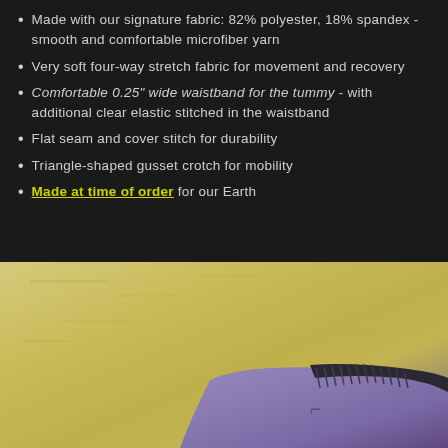Made with our signature fabric: 82% polyester, 18% spandex - smooth and comfortable microfiber yarn
Very soft four-way stretch fabric for movement and recovery
Comfortable 0.25" wide waistband for the tummy - with additional clear elastic stitched in the waistband
Flat seam and cover stitch for durability
Triangle-shaped gusset crotch for mobility
Made at time of order for our Earth
[Figure (photo): Photo of purple/lavender athletic wear garment with dark waistband stitching, laid on sandy/yellow textured background]